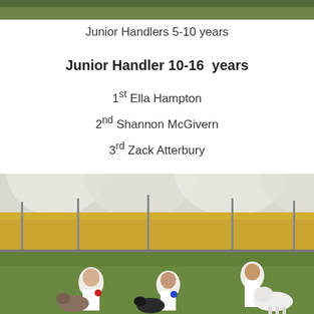[Figure (photo): Top strip: outdoor grassy field scene, partially visible]
Junior Handlers 5-10 years
Junior Handler 10-16  years
1st Ella Hampton
2nd Shannon McGivern
3rd Zack Atterbury
[Figure (photo): Three children in white coats with goats inside a large tent/marquee with yellow walls and metal fencing, on grass]